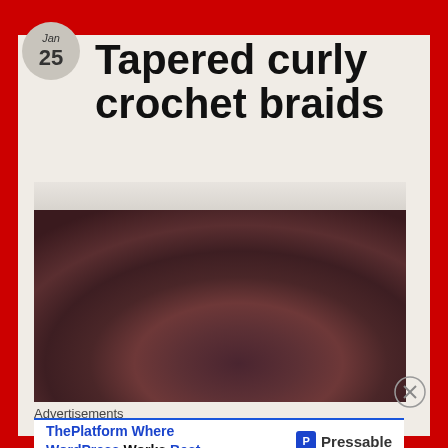Jan 25 — Tapered curly crochet braids
[Figure (photo): Close-up photo of the top of a person's head showing voluminous, curly dark reddish-brown crochet braids against a kitchen background]
Advertisements
ThePlatform Where WordPress Works Best — Pressable